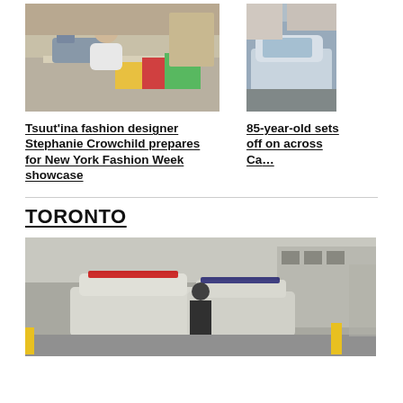[Figure (photo): Woman using a sewing machine working with colorful fabric]
[Figure (photo): Partial view of a car, cropped on right side]
Tsuut'ina fashion designer Stephanie Crowchild prepares for New York Fashion Week showcase
85-year-old sets off on across Ca...
TORONTO
[Figure (photo): Police officers standing near police vehicles in a parking area]